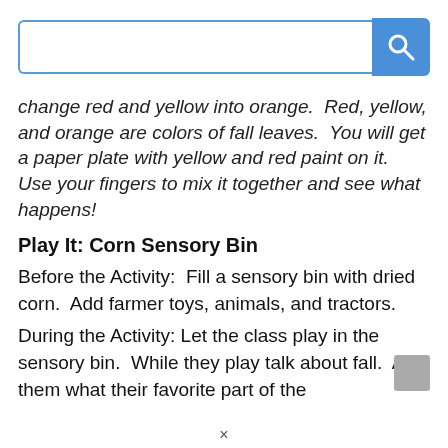[Figure (screenshot): Search bar with blue border input field and blue search button with magnifying glass icon]
change red and yellow into orange.  Red, yellow, and orange are colors of fall leaves.  You will get a paper plate with yellow and red paint on it.  Use your fingers to mix it together and see what happens!
Play It: Corn Sensory Bin
Before the Activity:  Fill a sensory bin with dried corn.  Add farmer toys, animals, and tractors.
During the Activity: Let the class play in the sensory bin.  While they play talk about fall.  Ask them what their favorite part of the